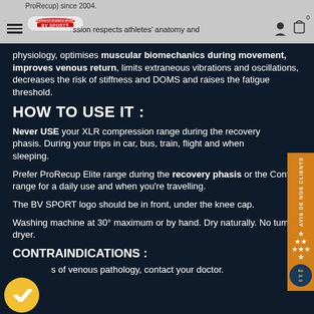ProRecup) since 2004. BV SPORT — Collection passion respects athletes' anatomy and physiology...
Collection passion respects athletes' anatomy and physiology, optimises muscular biomechanics during movement, improves venous return, limits extraneous vibrations and oscillations, decreases the risk of stiffness and DOMS and raises the fatigue threshold.
HOW TO USE IT :
Never USE your XLR compression range during the recovery phasis. During your trips in car, bus, train, flight and when sleeping.
Prefer ProRecup Elite range during the recovery phasis or the Confort range for a daily use and when you're travelling.
The BV SPORT logo should be in front, under the knee cap.
Washing machine at 30° maximum or by hand. Dry naturally. No tumble dryer.
CONTRAINDICATIONS :
– In case of venous pathology, contact your doctor.